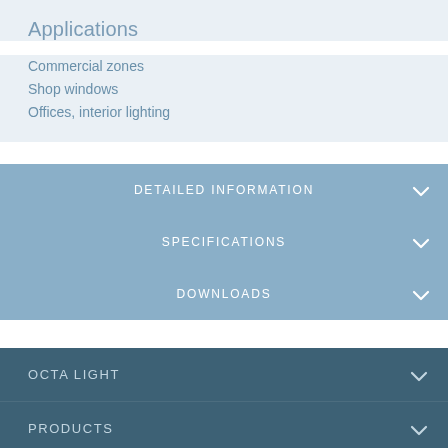Applications
Commercial zones
Shop windows
Offices, interior lighting
DETAILED INFORMATION
SPECIFICATIONS
DOWNLOADS
OCTA LIGHT
PRODUCTS
LINKS
CONTACT US